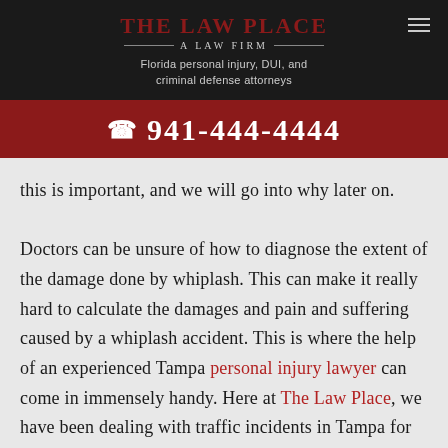THE LAW PLACE — A LAW FIRM — Florida personal injury, DUI, and criminal defense attorneys
📞 941-444-4444
this is important, and we will go into why later on. Doctors can be unsure of how to diagnose the extent of the damage done by whiplash. This can make it really hard to calculate the damages and pain and suffering caused by a whiplash accident. This is where the help of an experienced Tampa personal injury lawyer can come in immensely handy. Here at The Law Place, we have been dealing with traffic incidents in Tampa for years and have